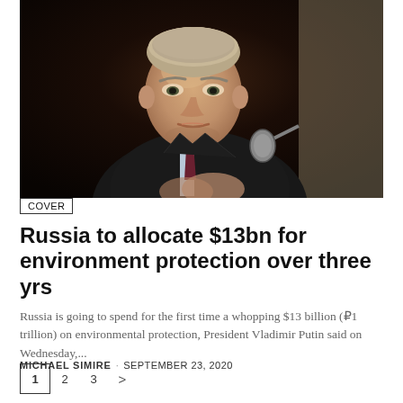[Figure (photo): A man in a dark suit with a red tie seated in front of a microphone, photographed from slightly below in a formal meeting setting. Dark background.]
COVER
Russia to allocate $13bn for environment protection over three yrs
Russia is going to spend for the first time a whopping $13 billion (₽1 trillion) on environmental protection, President Vladimir Putin said on Wednesday,...
MICHAEL SIMIRE · SEPTEMBER 23, 2020